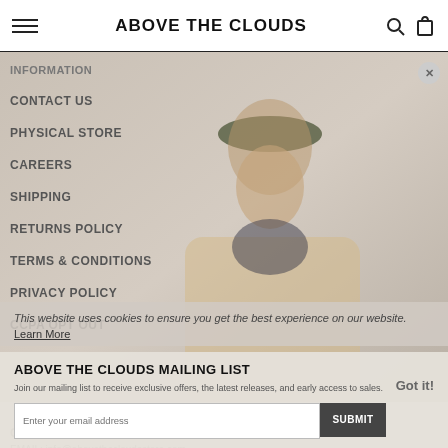ABOVE THE CLOUDS
INFORMATION
CONTACT US
PHYSICAL STORE
CAREERS
SHIPPING
RETURNS POLICY
TERMS & CONDITIONS
PRIVACY POLICY
CCPA OPT OUT
[Figure (photo): Man wearing bucket hat and beige trench coat, smiling, against neutral background]
This website uses cookies to ensure you get the best experience on our website.
Learn More
ABOVE THE CLOUDS MAILING LIST
Join our mailing list to receive exclusive offers, the latest releases, and early access to sales.
Got it!
Enter your email address
SUBMIT
CONTACT
EMAIL: info@abovethecloudsstore.com
PHONE: +1 (414) 2 0000 4450